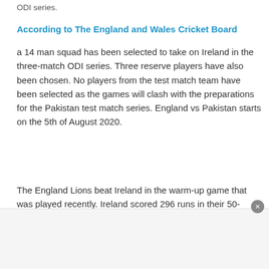ODI series.
According to The England and Wales Cricket Board
a 14 man squad has been selected to take on Ireland in the three-match ODI series. Three reserve players have also been chosen. No players from the test match team have been selected as the games will clash with the preparations for the Pakistan test match series. England vs Pakistan starts on the 5th of August 2020.
The England Lions beat Ireland in the warm-up game that was played recently. Ireland scored 296 runs in their 50-overs. However, England chased this down comfortably. They finished on 297-3 in under